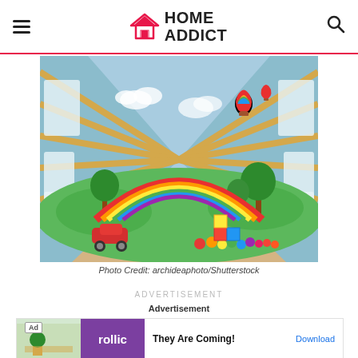HOME ADDICT
[Figure (photo): A children's attic playroom with a colorful mural featuring a rainbow, hot air balloons, clouds, and trees on a blue wall. The room has wooden beam rafters, skylight windows on both sides, a wooden floor, a red toy car, and colorful toy balls and blocks scattered on the floor.]
Photo Credit: archideaphoto/Shutterstock
ADVERTISEMENT
Advertisement
[Figure (screenshot): An advertisement banner showing an Ad tag, a game image thumbnail, a purple background with the text 'rollic', the headline 'They Are Coming!', and a blue Download button.]